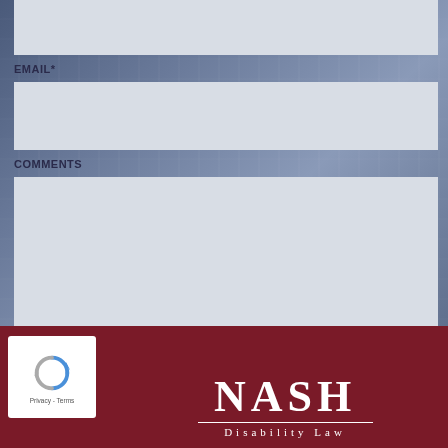EMAIL*
COMMENTS
SECURED INFORMATION
GET HELP NOW! »
[Figure (logo): Nash Disability Law logo with NASH in large serif font and DISABILITY LAW below in spaced small caps]
[Figure (other): reCAPTCHA widget with recycling arrow icon and Privacy - Terms text]